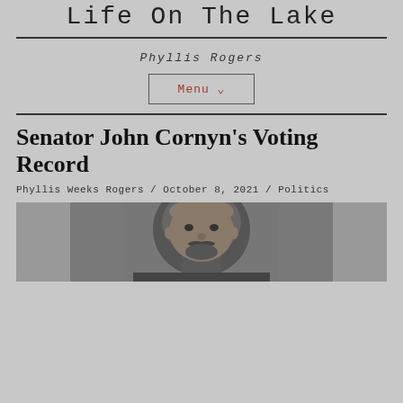Life On The Lake
Phyllis Rogers
Menu ∨
Senator John Cornyn's Voting Record
Phyllis Weeks Rogers / October 8, 2021 / Politics
[Figure (photo): Black and white portrait photograph of a man with a beard and mustache, close-up face shot]